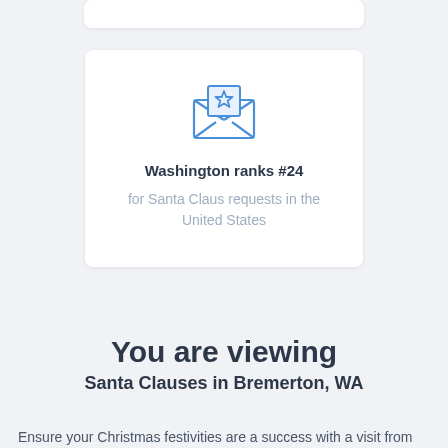[Figure (illustration): Open envelope icon with a star, drawn in blue outline style]
Washington ranks #24
for Santa Claus requests in the United States
You are viewing
Santa Clauses in Bremerton, WA
Ensure your Christmas festivities are a success with a visit from